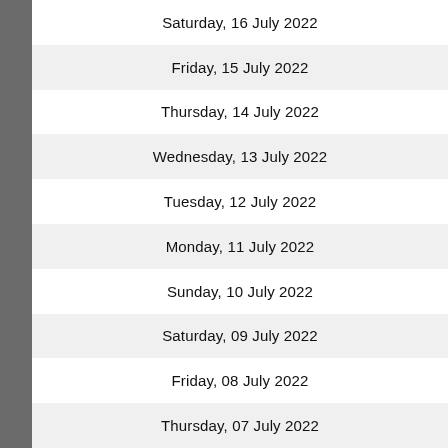Saturday, 16 July 2022
Friday, 15 July 2022
Thursday, 14 July 2022
Wednesday, 13 July 2022
Tuesday, 12 July 2022
Monday, 11 July 2022
Sunday, 10 July 2022
Saturday, 09 July 2022
Friday, 08 July 2022
Thursday, 07 July 2022